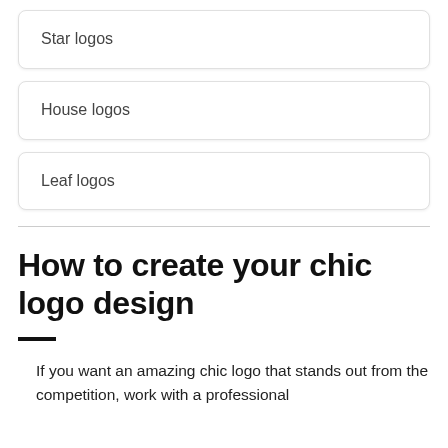Star logos
House logos
Leaf logos
How to create your chic logo design
If you want an amazing chic logo that stands out from the competition, work with a professional designer to make it happen.